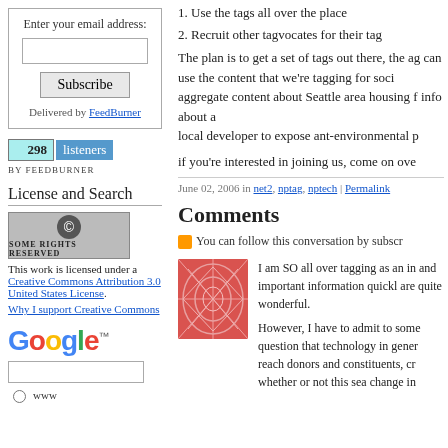[Figure (infographic): Email subscribe box with label 'Enter your email address:', a text input, Subscribe button, and 'Delivered by FeedBurner' link]
[Figure (infographic): FeedBurner badge showing '298 listeners' with blue styling and 'BY FEEDBURNER' text below]
License and Search
[Figure (logo): Creative Commons 'Some Rights Reserved' badge - grey background with CC circle logo]
This work is licensed under a Creative Commons Attribution 3.0 United States License.
Why I support Creative Commons
[Figure (logo): Google logo in multicolor with trademark symbol]
[Figure (infographic): Google search box with text input and 'www' radio button option]
1. Use the tags all over the place
2. Recruit other tagvocates for their tag
The plan is to get a set of tags out there, the ag can use the content that we're tagging for soci aggregate content about Seattle area housing f info about a local developer to expose ant-environmental p
if you're interested in joining us, come on ove
June 02, 2006 in net2, nptag, nptech | Permalink
Comments
You can follow this conversation by subscr
I am SO all over tagging as an in and important information quickl are quite wonderful.
However, I have to admit to some question that technology in gener reach donors and constituents, cr whether or not this sea change in